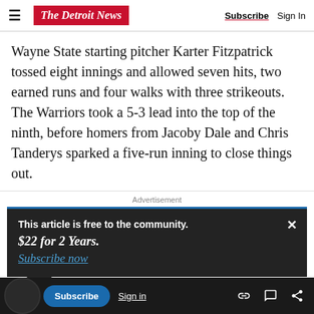The Detroit News | Subscribe | Sign In
Wayne State starting pitcher Karter Fitzpatrick tossed eight innings and allowed seven hits, two earned runs and four walks with three strikeouts. The Warriors took a 5-3 lead into the top of the ninth, before homers from Jacoby Dale and Chris Tanderys sparked a five-run inning to close things out.
Advertisement
This article is free to the community.
$22 for 2 Years.
Subscribe now
Subscribe | Sign in